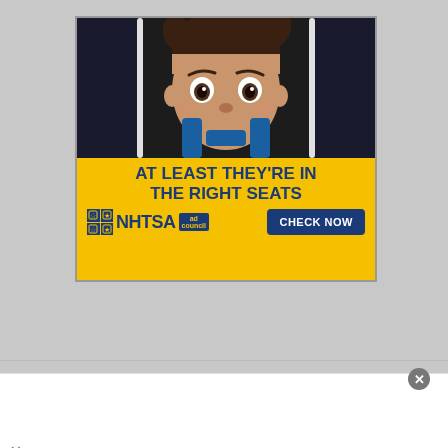[Figure (illustration): NHTSA public service advertisement showing a child in a car seat with yellow background. Text reads 'AT LEAST THEY'RE IN THE RIGHT SEATS' with NHTSA logo and 'CHECK NOW' button.]
[Figure (illustration): Kynix banner advertisement with orange logo and 'Integrated Circuits Supplier' text with 'Get Quote' button.]